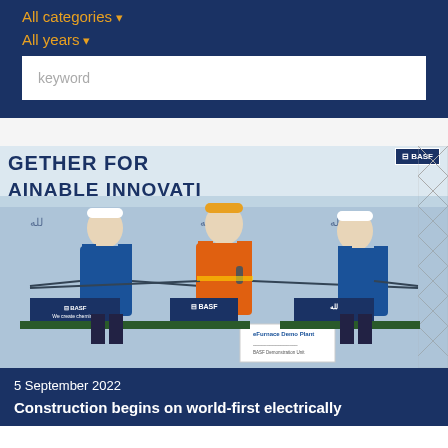All categories
All years
keyword
[Figure (photo): Three people in hard hats and blue workwear standing on a stage at a BASF event with banners reading 'TOGETHER FOR SUSTAINABLE INNOVATION'. The middle person wears an orange high-vis jacket and holds a microphone. All three are holding a rope or wire. BASF logos visible on signs and banners.]
5 September 2022
Construction begins on world-first electrically